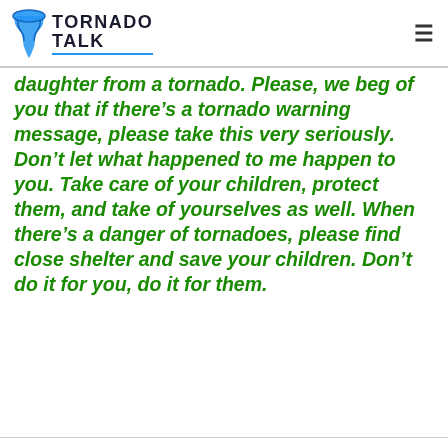TORNADO TALK
daughter from a tornado. Please, we beg of you that if there’s a tornado warning message, please take this very seriously. Don’t let what happened to me happen to you. Take care of your children, protect them, and take of yourselves as well. When there’s a danger of tornadoes, please find close shelter and save your children. Don’t do it for you, do it for them.